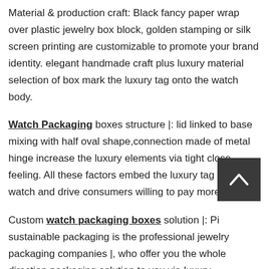Material & production craft: Black fancy paper wrap over plastic jewelry box block, golden stamping or silk screen printing are customizable to promote your brand identity. elegant handmade craft plus luxury material selection of box mark the luxury tag onto the watch body.
Watch Packaging boxes structure |: lid linked to base mixing with half oval shape,connection made of metal hinge increase the luxury elements via tight close feeling. All these factors embed the luxury tag into watch and drive consumers willing to pay more for it.
Custom watch packaging boxes solution |: Pi sustainable packaging is the professional jewelry packaging companies |, who offer you the whole direction packaging solution to you via luxury